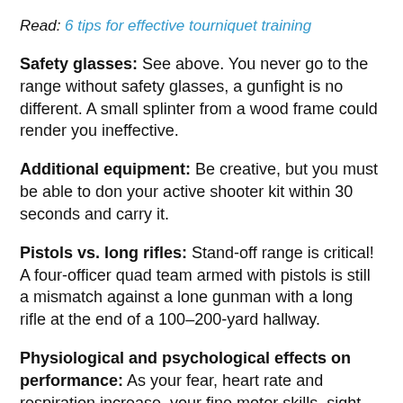Read: 6 tips for effective tourniquet training
Safety glasses: See above. You never go to the range without safety glasses, a gunfight is no different. A small splinter from a wood frame could render you ineffective.
Additional equipment: Be creative, but you must be able to don your active shooter kit within 30 seconds and carry it.
Pistols vs. long rifles: Stand-off range is critical! A four-officer quad team armed with pistols is still a mismatch against a lone gunman with a long rifle at the end of a 100–200-yard hallway.
Physiological and psychological effects on performance: As your fear, heart rate and respiration increase, your fine motor skills, sight, hearing, memory, cognitive thinking, bodily functions and performance